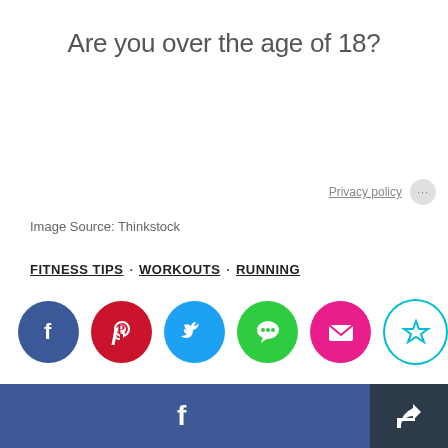Are you over the age of 18?
Privacy policy
Image Source: Thinkstock
FITNESS TIPS · WORKOUTS · RUNNING
[Figure (infographic): Social share icons: Facebook (dark blue circle), Pinterest (red circle), Twitter (light blue circle), Messages (green circle), Email/Mail (pink circle), Bookmark/Star (white circle with cyan border)]
[Figure (infographic): Bottom bar: Facebook share button (blue, with white f icon) and a share/export button (dark, with white share icon)]